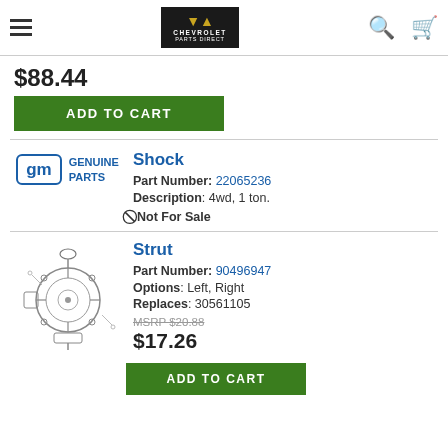Chevrolet Parts Direct
$88.44
ADD TO CART
Shock
Part Number: 22065236
Description: 4wd, 1 ton.
Not For Sale
Strut
Part Number: 90496947
Options: Left, Right
Replaces: 30561105
MSRP $20.88
$17.26